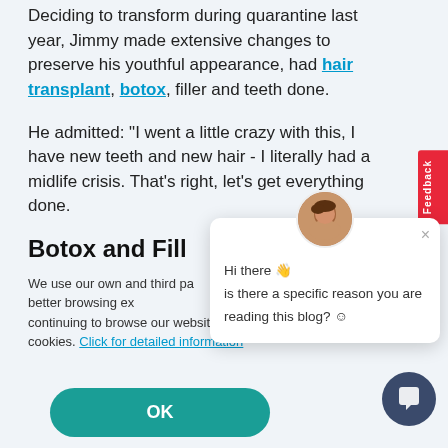Deciding to transform during quarantine last year, Jimmy made extensive changes to preserve his youthful appearance, had hair transplant, botox, filler and teeth done.
He admitted: "I went a little crazy with this, I have new teeth and new hair - I literally had a midlife crisis. That's right, let's get everything done.
Botox and Fill
We use our own and third party cookies to provide you with a better browsing experience and for advertising purposes. By continuing to browse our website, you agree to our use of cookies. Click for detailed information
[Figure (screenshot): Chat popup with avatar photo of a woman, close button (×), greeting text 'Hi there 👋 is there a specific reason you are reading this blog? ☺']